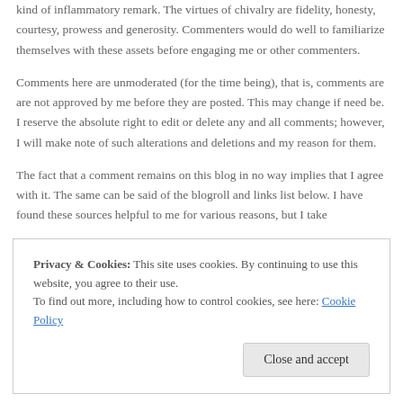kind of inflammatory remark. The virtues of chivalry are fidelity, honesty, courtesy, prowess and generosity. Commenters would do well to familiarize themselves with these assets before engaging me or other commenters.
Comments here are unmoderated (for the time being), that is, comments are are not approved by me before they are posted. This may change if need be. I reserve the absolute right to edit or delete any and all comments; however, I will make note of such alterations and deletions and my reason for them.
The fact that a comment remains on this blog in no way implies that I agree with it. The same can be said of the blogroll and links list below. I have found these sources helpful to me for various reasons, but I take
Privacy & Cookies: This site uses cookies. By continuing to use this website, you agree to their use.
To find out more, including how to control cookies, see here: Cookie Policy
Close and accept